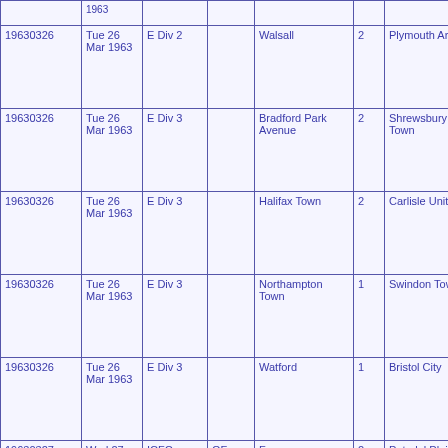| Date | Date2 | Comp | Rnd | Home | HG | Away | AG | Att |
| --- | --- | --- | --- | --- | --- | --- | --- | --- |
| 19630326 | Tue 26 Mar 1963 | E Div 2 |  | Walsall | 2 | Plymouth Argyle | 2 |  |
| 19630326 | Tue 26 Mar 1963 | E Div 3 |  | Bradford Park Avenue | 2 | Shrewsbury Town | 1 |  |
| 19630326 | Tue 26 Mar 1963 | E Div 3 |  | Halifax Town | 2 | Carlisle United | 4 |  |
| 19630326 | Tue 26 Mar 1963 | E Div 3 |  | Northampton Town | 1 | Swindon Town | 1 |  |
| 19630326 | Tue 26 Mar 1963 | E Div 3 |  | Watford | 1 | Bristol City | 4 |  |
| 19630327 | Wed 27 Mar 1963 | ICFC | QF | Ferencvaros | 2 | Petrolul Ploiesti | 0 |  |
| 19630327 | Wed 27 Mar 1963 | L1 |  | Clyde | 4 | Raith Rovers | 2 | 1420 |
| 19630327 | Wed 27 Mar 1963 | L1 |  | Falkirk | 3 | Hibernian | 1 | 3319 |
| 19630327 | Wed 27 Mar 1963 | L1 |  | Heart of Midlothian | 0 | Rangers | 5 | 32267 |
| 19630327 | Wed |  |  |  |  |  |  |  |